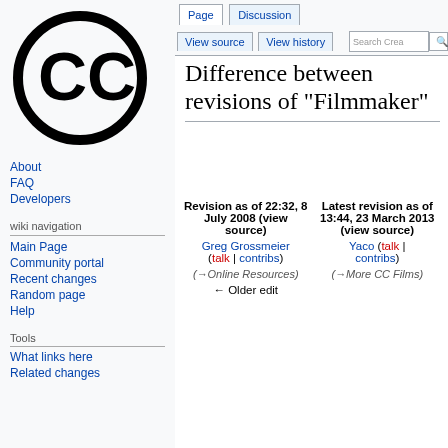Log in
[Figure (logo): Creative Commons CC logo — black circle with CC letters inside]
About
FAQ
Developers
wiki navigation
Main Page
Community portal
Recent changes
Random page
Help
Tools
What links here
Related changes
Difference between revisions of "Filmmaker"
| Revision as of 22:32, 8 July 2008 (view source) | Latest revision as of 13:44, 23 March 2013 (view source) |
| --- | --- |
| Greg Grossmeier (talk | contribs) | Yaco (talk | contribs) |
| (→Online Resources) | (→More CC Films) |
| ← Older edit |  |